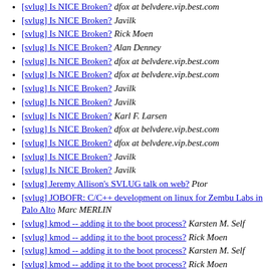[svlug] Is NICE Broken?  dfox at belvdere.vip.best.com
[svlug] Is NICE Broken?  Javilk
[svlug] Is NICE Broken?  Rick Moen
[svlug] Is NICE Broken?  Alan Denney
[svlug] Is NICE Broken?  dfox at belvdere.vip.best.com
[svlug] Is NICE Broken?  dfox at belvdere.vip.best.com
[svlug] Is NICE Broken?  Javilk
[svlug] Is NICE Broken?  Javilk
[svlug] Is NICE Broken?  Karl F. Larsen
[svlug] Is NICE Broken?  dfox at belvdere.vip.best.com
[svlug] Is NICE Broken?  dfox at belvdere.vip.best.com
[svlug] Is NICE Broken?  Javilk
[svlug] Is NICE Broken?  Javilk
[svlug] Jeremy Allison's SVLUG talk on web?  Ptor
[svlug] JOBOFR: C/C++ development on linux for Zembu Labs in Palo Alto  Marc MERLIN
[svlug] kmod -- adding it to the boot process?  Karsten M. Self
[svlug] kmod -- adding it to the boot process?  Rick Moen
[svlug] kmod -- adding it to the boot process?  Karsten M. Self
[svlug] kmod -- adding it to the boot process?  Rick Moen
[svlug] Kppp problems  Karl F. Larsen
[svlug] Kppp problems  Erik Steffl
[svlug] Kppp: not starting the first time  Karl F. Larsen